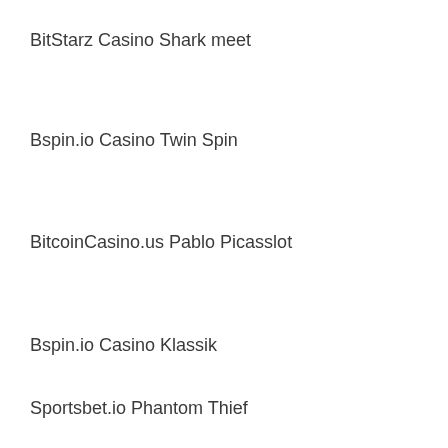BitStarz Casino Shark meet
Bspin.io Casino Twin Spin
BitcoinCasino.us Pablo Picasslot
Bspin.io Casino Klassik
Sportsbet.io Phantom Thief